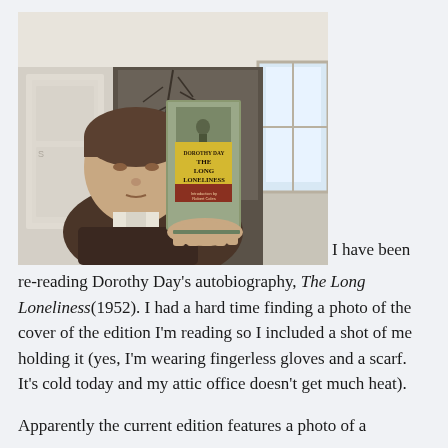[Figure (photo): A man holding up a copy of 'The Long Loneliness' by Dorothy Day. He is wearing a dark jacket, scarf, and fingerless gloves. He is indoors in what appears to be an attic room with a door and window visible behind him.]
I have been re-reading Dorothy Day's autobiography, The Long Loneliness (1952). I had a hard time finding a photo of the cover of the edition I'm reading so I included a shot of me holding it (yes, I'm wearing fingerless gloves and a scarf. It's cold today and my attic office doesn't get much heat).
Apparently the current edition features a photo of a